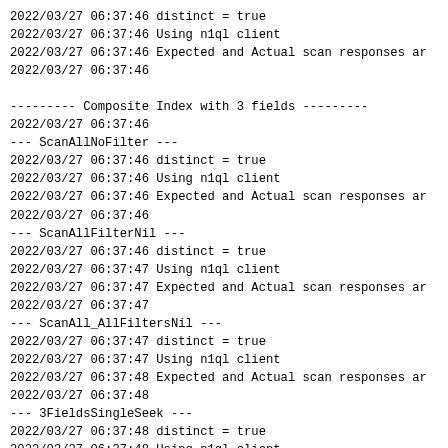2022/03/27 06:37:46 distinct = true
2022/03/27 06:37:46 Using n1ql client
2022/03/27 06:37:46 Expected and Actual scan responses ar
2022/03/27 06:37:46
--------- Composite Index with 3 fields ---------
2022/03/27 06:37:46
--- ScanAllNoFilter ---
2022/03/27 06:37:46 distinct = true
2022/03/27 06:37:46 Using n1ql client
2022/03/27 06:37:46 Expected and Actual scan responses ar
2022/03/27 06:37:46
--- ScanAllFilterNil ---
2022/03/27 06:37:46 distinct = true
2022/03/27 06:37:47 Using n1ql client
2022/03/27 06:37:47 Expected and Actual scan responses ar
2022/03/27 06:37:47
--- ScanAll_AllFiltersNil ---
2022/03/27 06:37:47 distinct = true
2022/03/27 06:37:47 Using n1ql client
2022/03/27 06:37:48 Expected and Actual scan responses ar
2022/03/27 06:37:48
--- 3FieldsSingleSeek ---
2022/03/27 06:37:48 distinct = true
2022/03/27 06:37:48 Using n1ql client
2022/03/27 06:37:48 Expected and Actual scan responses ar
2022/03/27 06:37:48
--- 3FieldsMultipleSeeks ---
2022/03/27 06:37:48 distinct = true
2022/03/27 06:37:48 Using n1ql client